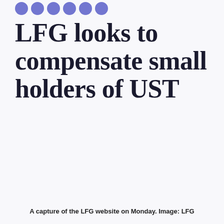[Figure (logo): Row of circular blue logo dots partially visible at top of page]
LFG looks to compensate small holders of UST
A capture of the LFG website on Monday. Image: LFG